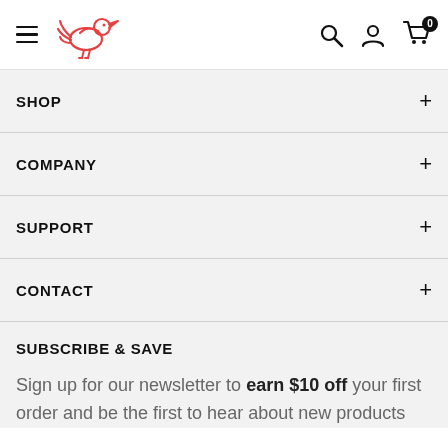[Figure (logo): Red bird logo (outline illustration of a bird) in red/coral color, used as site logo in navigation header]
SHOP
COMPANY
SUPPORT
CONTACT
SUBSCRIBE & SAVE
Sign up for our newsletter to earn $10 off your first order and be the first to hear about new products and deals.